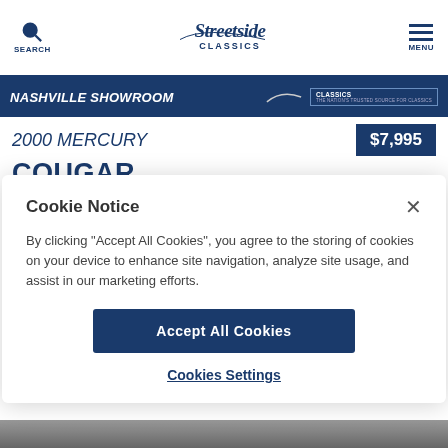Streetside Classics — SEARCH | MENU
NASHVILLE SHOWROOM
2000 MERCURY
$7,995
COUGAR
Cookie Notice
By clicking "Accept All Cookies", you agree to the storing of cookies on your device to enhance site navigation, analyze site usage, and assist in our marketing efforts.
Accept All Cookies
Cookies Settings